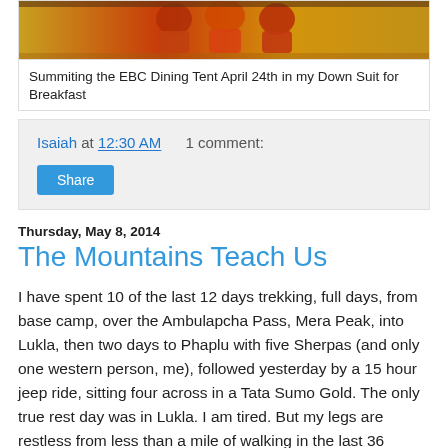[Figure (photo): Photo strip showing people in yellow/orange down suits at EBC dining tent]
Summiting the EBC Dining Tent April 24th in my Down Suit for Breakfast
Isaiah at 12:30 AM    1 comment:
Share
Thursday, May 8, 2014
The Mountains Teach Us
I have spent 10 of the last 12 days trekking, full days, from base camp, over the Ambulapcha Pass, Mera Peak, into Lukla, then two days to Phaplu with five Sherpas (and only one western person, me), followed yesterday by a 15 hour jeep ride, sitting four across in a Tata Sumo Gold. The only true rest day was in Lukla. I am tired. But my legs are restless from less than a mile of walking in the last 36 hours…
In a way, the long trek out was therapeutic. So much